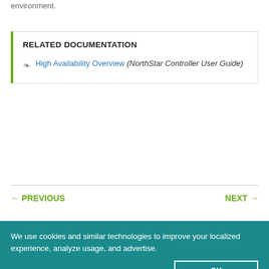environment.
RELATED DOCUMENTATION
High Availability Overview (NorthStar Controller User Guide)
← PREVIOUS
NEXT →
We use cookies and similar technologies to improve your localized experience, analyze usage, and advertise.
Privacy Policy
OK
Cookie Settings